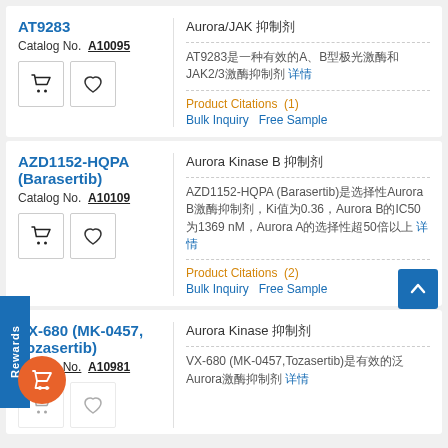AT9283
Catalog No. A10095
Aurora/JAK 抑制剂
AT9283是一种有效的A、B型极光激酶和JAK2/3激酶抑制剂 详情
Product Citations (1)
Bulk Inquiry   Free Sample
AZD1152-HQPA (Barasertib)
Catalog No. A10109
Aurora Kinase B 抑制剂
AZD1152-HQPA (Barasertib)是选择性Aurora B激酶抑制剂，Ki值为0.36，Aurora B的IC50为1369 nM，Aurora A的选择性超50倍以上 详情
Product Citations (2)
Bulk Inquiry   Free Sample
VX-680 (MK-0457, Tozasertib)
Catalog No. A10981
Aurora Kinase 抑制剂
VX-680 (MK-0457,Tozasertib)是有效的泛Aurora激酶抑制剂 详情